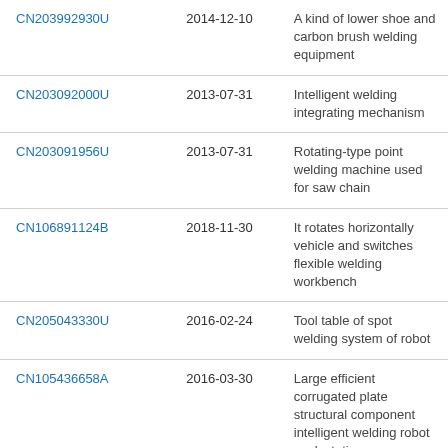| CN203992930U | 2014-12-10 | A kind of lower shoe and carbon brush welding equipment |
| CN203092000U | 2013-07-31 | Intelligent welding integrating mechanism |
| CN203091956U | 2013-07-31 | Rotating-type point welding machine used for saw chain |
| CN106891124B | 2018-11-30 | It rotates horizontally vehicle and switches flexible welding workbench |
| CN205043330U | 2016-02-24 | Tool table of spot welding system of robot |
| CN105436658A | 2016-03-30 | Large efficient corrugated plate structural component intelligent welding robot work station |
| CN206869354U | 2018-01-12 | Rotate horizontally vehicle switching flexible welding workbench |
| CN2XXXXXXU | 2013-07-31 | Welding fot... |